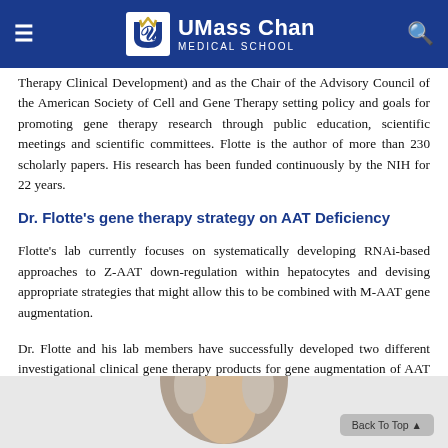UMass Chan Medical School
Therapy Clinical Development) and as the Chair of the Advisory Council of the American Society of Cell and Gene Therapy setting policy and goals for promoting gene therapy research through public education, scientific meetings and scientific committees. Flotte is the author of more than 230 scholarly papers. His research has been funded continuously by the NIH for 22 years.
Dr. Flotte's gene therapy strategy on AAT Deficiency
Flotte's lab currently focuses on systematically developing RNAi-based approaches to Z-AAT down-regulation within hepatocytes and devising appropriate strategies that might allow this to be combined with M-AAT gene augmentation.
Dr. Flotte and his lab members have successfully developed two different investigational clinical gene therapy products for gene augmentation of AAT as a potential therapy for the lung disease (rAAV2-AAT and rAAV1-AAT), and a third vector in development that is much more efficient for delivery of wild-type (M) AAT to hepatocytes (rAAV8-AAT).
[Figure (photo): Circular portrait photo of a person with gray/white hair, cropped at the bottom of the page.]